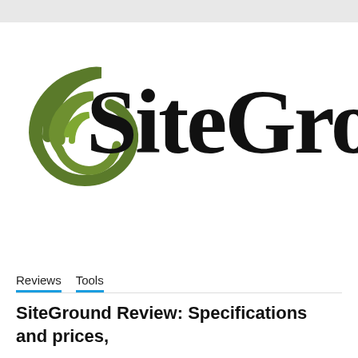[Figure (logo): SiteGround logo with green spiral icon and bold custom black wordmark text reading 'SiteGround']
Reviews   Tools
SiteGround Review: Specifications and prices,